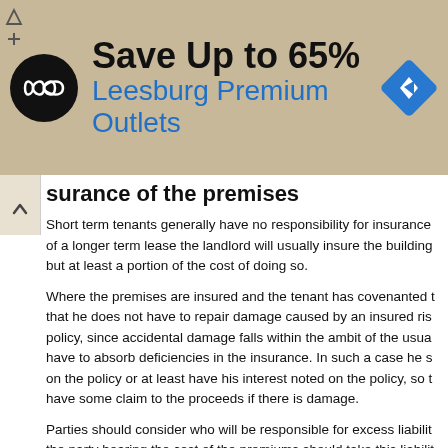[Figure (other): Advertisement banner: black circular logo with infinity-like symbol, text 'Save Up to 65%' in bold black, 'Leesburg Premium Outlets' in blue, blue diamond road sign icon on the right. Background is tan/khaki.]
surance of the premises
Short term tenants generally have no responsibility for insurance of a longer term lease the landlord will usually insure the building but at least a portion of the cost of doing so.
Where the premises are insured and the tenant has covenanted to repair, that he does not have to repair damage caused by an insured risk under that policy, since accidental damage falls within the ambit of the usual policy. He may have to absorb deficiencies in the insurance. In such a case he should be named on the policy or at least have his interest noted on the policy, so that he will have some claim to the proceeds if there is damage.
Parties should consider who will be responsible for excess liability insurance; the party bearing the cost of the premiums should take this liability as an offset of the lower premium.
Catastrophic damage